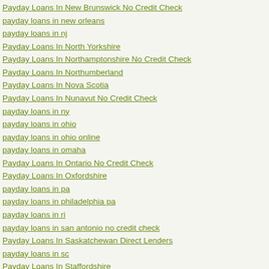Payday Loans In New Brunswick No Credit Check
payday loans in new orleans
payday loans in nj
Payday Loans In North Yorkshire
Payday Loans In Northamptonshire No Credit Check
Payday Loans In Northumberland
Payday Loans In Nova Scotia
Payday Loans In Nunavut No Credit Check
payday loans in ny
payday loans in ohio
payday loans in ohio online
payday loans in omaha
Payday Loans In Ontario No Credit Check
Payday Loans In Oxfordshire
payday loans in pa
payday loans in philadelphia pa
payday loans in ri
payday loans in san antonio no credit check
Payday Loans In Saskatchewan Direct Lenders
payday loans in sc
Payday Loans In Staffordshire
payday loans in texas
payday loans in tulsa ok
payday loans in utah
payday loans in va